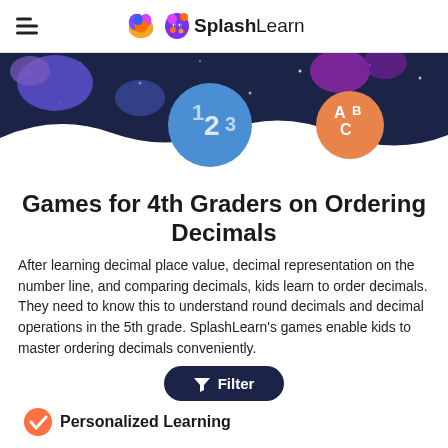SplashLearn
[Figure (illustration): Dark navy wavy background banner with colorful blob shapes (purple, blue, magenta), a large blue circle with '123' text and an orange circle with 'ABC' text, white stars scattered throughout.]
Games for 4th Graders on Ordering Decimals
After learning decimal place value, decimal representation on the number line, and comparing decimals, kids learn to order decimals. They need to know this to understand round decimals and decimal operations in the 5th grade. SplashLearn's games enable kids to master ordering decimals conveniently.
[Figure (other): Dark navy rounded pill-shaped Filter button with funnel icon and text 'Filter']
Personalized Learning